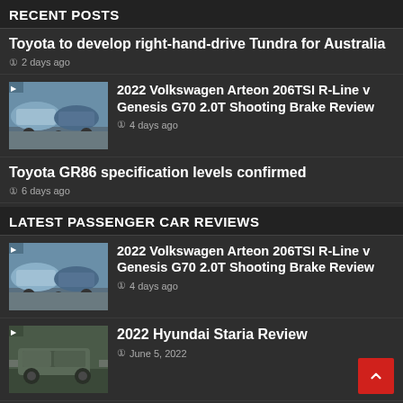RECENT POSTS
Toyota to develop right-hand-drive Tundra for Australia
2 days ago
2022 Volkswagen Arteon 206TSI R-Line v Genesis G70 2.0T Shooting Brake Review
4 days ago
Toyota GR86 specification levels confirmed
6 days ago
LATEST PASSENGER CAR REVIEWS
2022 Volkswagen Arteon 206TSI R-Line v Genesis G70 2.0T Shooting Brake Review
4 days ago
2022 Hyundai Staria Review
June 5, 2022